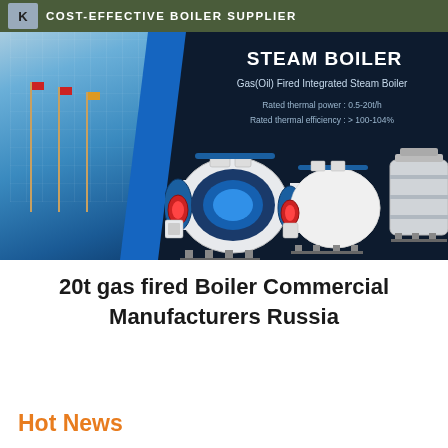COST-EFFECTIVE BOILER SUPPLIER
[Figure (photo): Steam boiler product banner showing industrial building on left with flagpoles, blue diagonal accent, dark background on right with steam boiler units lined up, title STEAM BOILER, subtitle Gas(Oil) Fired Integrated Steam Boiler, specs: Rated thermal power 0.5-20t/h, Rated thermal efficiency >100-104%]
20t gas fired Boiler Commercial Manufacturers Russia
Hot News